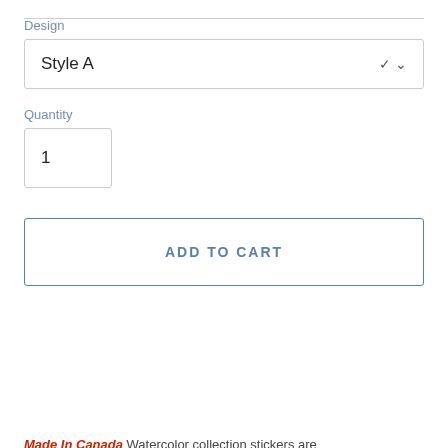Design
Style A
Quantity
1
ADD TO CART
Made In Canada Watercolor collection stickers are